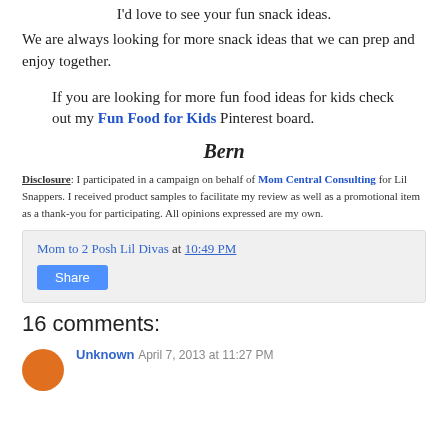I'd love to see your fun snack ideas. We are always looking for more snack ideas that we can prep and enjoy together.
If you are looking for more fun food ideas for kids check out my Fun Food for Kids Pinterest board.
Bern
Disclosure: I participated in a campaign on behalf of Mom Central Consulting for Lil Snappers. I received product samples to facilitate my review as well as a promotional item as a thank-you for participating. All opinions expressed are my own.
Mom to 2 Posh Lil Divas at 10:49 PM
Share
16 comments:
Unknown April 7, 2013 at 11:27 PM